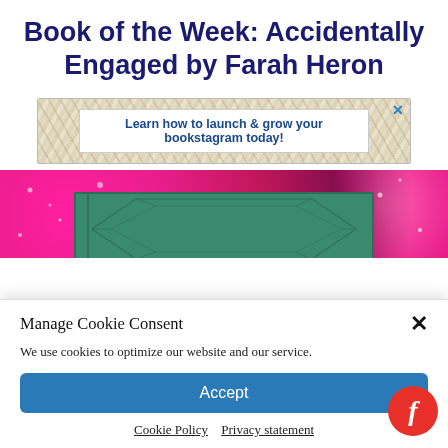Book of the Week: Accidentally Engaged by Farah Heron
[Figure (screenshot): Advertisement banner with marbled background and white text box reading 'Learn how to launch & grow your bookstagram today!' with a blue X close button]
[Figure (photo): Partial book cover showing pink glitter background with a teal/green book cover visible in the center]
Manage Cookie Consent
We use cookies to optimize our website and our service.
Accept
Cookie Policy   Privacy statement